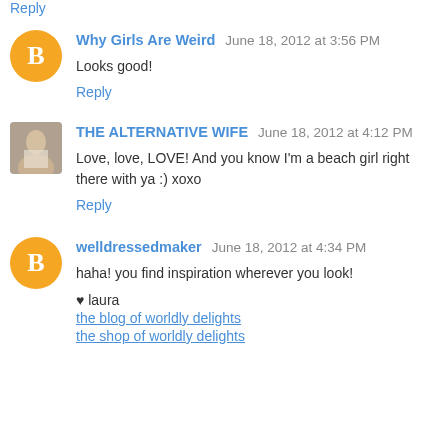Reply
Why Girls Are Weird  June 18, 2012 at 3:56 PM
Looks good!
Reply
THE ALTERNATIVE WIFE  June 18, 2012 at 4:12 PM
Love, love, LOVE! And you know I'm a beach girl right there with ya :) xoxo
Reply
welldressedmaker  June 18, 2012 at 4:34 PM
haha! you find inspiration wherever you look!

♥ laura
the blog of worldly delights
the shop of worldly delights